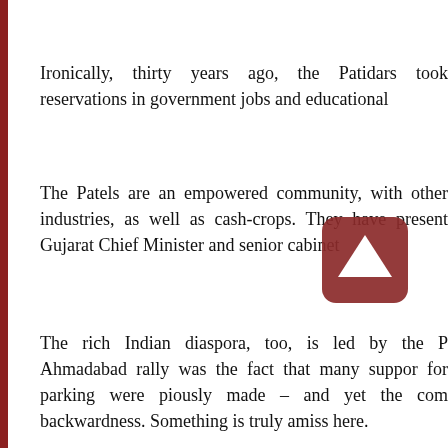Ironically, thirty years ago, the Patidars took reservations in government jobs and educational
The Patels are an empowered community, with other industries, as well as cash-crops. They have present Gujarat Chief Minister and senior cabinet
[Figure (other): Video play button overlay (rounded rectangle with upward-pointing triangle/play icon) in dark red/maroon color, positioned over the text]
The rich Indian diaspora, too, is led by the P Ahmadabad rally was the fact that many support for parking were piously made – and yet the com backwardness. Something is truly amiss here.
Some have argued that the Patel community is education, in view of the ups and downs in the them, they wish to cushion the way with the de government jobs. But it is not possible for the reservation pie. Privileged and locally dominant